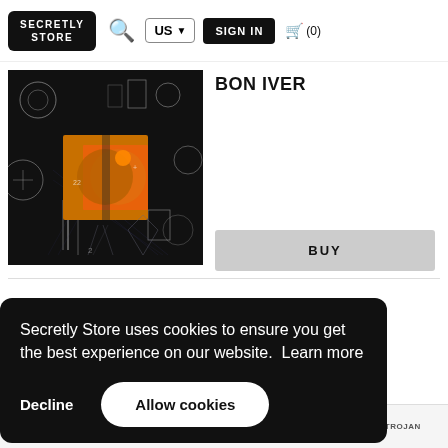SECRETLY STORE | US | SIGN IN | (0)
[Figure (photo): Bon Iver album cover with dark background featuring various illustrated objects and an orange/gold geometric shape in the center]
BON IVER
BUY
Secretly Store uses cookies to ensure you get the best experience on our website. Learn more
Decline
Allow cookies
FEATURED  BRIGHT EYES  ROSE  LAGOS  TROJAN